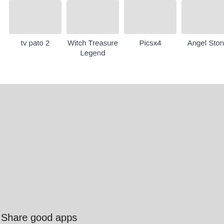[Figure (screenshot): App grid row showing four app icons with labels: tv pato 2, Witch Treasure Legend, Picsx4, Angel Stone]
tv pato 2
Witch Treasure Legend
Picsx4
Angel Stone
Share good apps